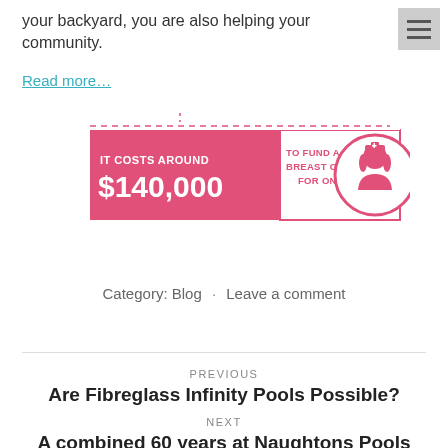your backyard, you are also helping your community.
Read more…
[Figure (infographic): Pink infographic banner: 'IT COSTS AROUND $140,000 TO FUND A McGRATH BREAST CARE NURSE FOR ONE YEAR' with a circular nurse icon on the right.]
Category: Blog · Leave a comment
PREVIOUS
Are Fibreglass Infinity Pools Possible?
NEXT
A combined 60 years at Naughtons Pools